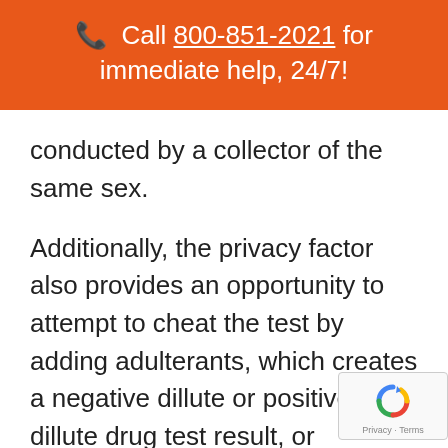📞 Call 800-851-2021 for immediate help, 24/7!
conducted by a collector of the same sex.
Additionally, the privacy factor also provides an opportunity to attempt to cheat the test by adding adulterants, which creates a negative dillute or positive dillute drug test result, or substituting the specimen entirely.